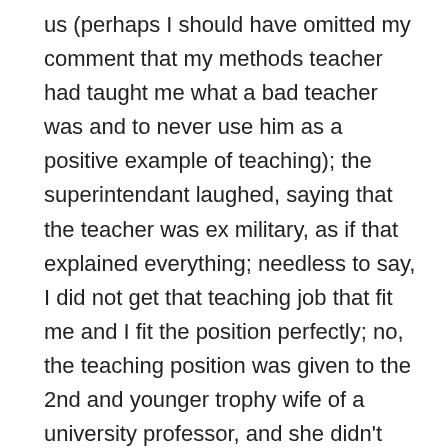us (perhaps I should have omitted my comment that my methods teacher had taught me what a bad teacher was and to never use him as a positive example of teaching); the superintendant laughed, saying that the teacher was ex military, as if that explained everything; needless to say, I did not get that teaching job that fit me and I fit the position perfectly; no, the teaching position was given to the 2nd and younger trophy wife of a university professor, and she didn't even do the school extra curricular position that was essential to this particular teacher hiring; the department head who wanted to hire me apologized profusely to me, wrung his hands, and vented his own frustration with the situation; but, I still didn't